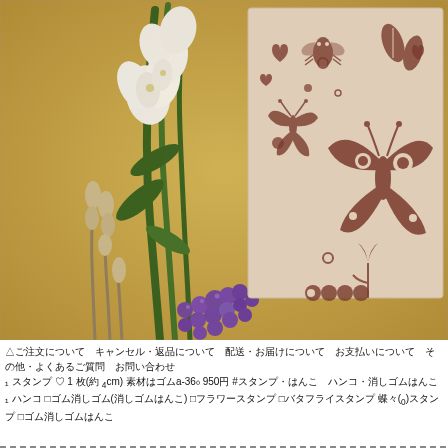[Figure (photo): A photograph showing white and purple flowers (freesias and muscari/grape hyacinth) on a golden/yellow background, next to a kraft paper card stamped with brown ink butterfly, bee, and floral motifs.]
△ご注文について キャンセル・返品について 配送・お届けについて お支払いについて その他・よくあるご質問 お問い合わせ
₁ スタンプ ♡ 1 枚(約 ₄cm) 素材はゴムa-36₀ 950円 #スタンプ・はんこ ハンコ・消しゴムはんこ
₁ ハンコ □ゴム消しゴム(消しゴムはんこ) □フラワースタンプ □バタフライスタンプ 蝶々(₀)スタンプ □ゴム消しゴムはんこ